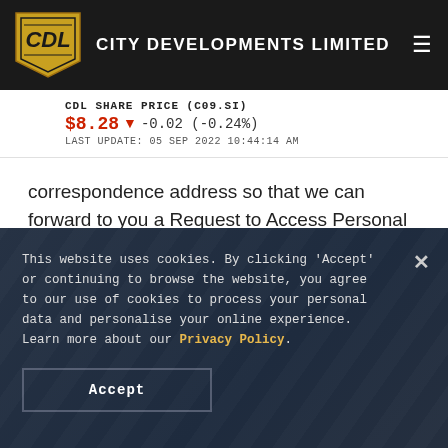City Developments Limited
CDL SHARE PRICE (C09.SI)
$8.28 ▼ -0.02 (-0.24%)
LAST UPDATE: 05 SEP 2022 10:44:14 AM
correspondence address so that we can forward to you a Request to Access Personal Data Form or a Request to Correct Personal Data Form for your completion and return to us for our
This website uses cookies. By clicking 'Accept' or continuing to browse the website, you agree to our use of cookies to process your personal data and personalise your online experience. Learn more about our Privacy Policy.
Accept